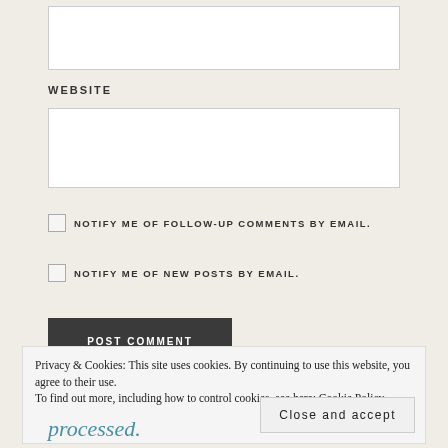WEBSITE
NOTIFY ME OF FOLLOW-UP COMMENTS BY EMAIL.
NOTIFY ME OF NEW POSTS BY EMAIL.
POST COMMENT
Privacy & Cookies: This site uses cookies. By continuing to use this website, you agree to their use.
To find out more, including how to control cookies, see here: Cookie Policy
Close and accept
processed.